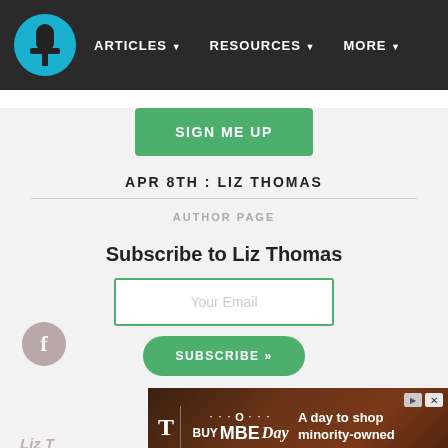ARTICLES ▼   RESOURCES ▼   MORE ▼
SIGN ME UP
APR 8TH : LIZ THOMAS
AUTHOR PAGE
Subscribe to Liz Thomas
Your Email
SUBSCRIBE »
Liz T
[Figure (screenshot): Advertisement banner: T-Mobile logo with 'BUY MBE Day' text and 'A day to shop minority-owned' tagline on dark brown background]